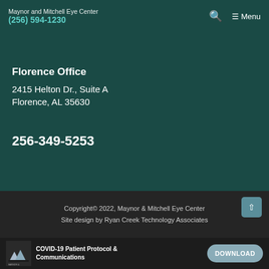Maynor and Mitchell Eye Center | (256) 594-1230 | Menu
Florence Office
2415 Helton Dr., Suite A
Florence, AL 35630
256-349-5253
Copyright© 2022, Maynor & Mitchell Eye Center
Site design by Ryan Creek Technology Associates
COVID-19 Patient Protocol & Communications | DOWNLOAD